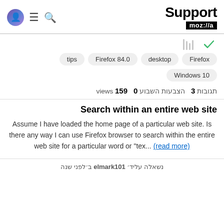Support mozilla
tips · Firefox 84.0 · desktop · Firefox · Windows 10
3 תגובות  0 הצבעות השבוע  159 views
Search within an entire web site
Assume I have loaded the home page of a particular web site. Is there any way I can use Firefox browser to search within the entire web site for a particular word or "tex... (read more)
נשאלה עליד׳ elmark101 ב׳לפני שנה